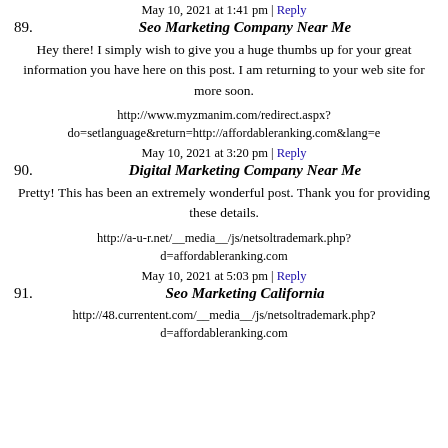d=affordableranking.com
May 10, 2021 at 1:41 pm | Reply
89. Seo Marketing Company Near Me
Hey there! I simply wish to give you a huge thumbs up for your great information you have here on this post. I am returning to your web site for more soon.
http://www.myzmanim.com/redirect.aspx?do=setlanguage&return=http://affordableranking.com&lang=e
May 10, 2021 at 3:20 pm | Reply
90. Digital Marketing Company Near Me
Pretty! This has been an extremely wonderful post. Thank you for providing these details.
http://a-u-r.net/__media__/js/netsoltrademark.php?d=affordableranking.com
May 10, 2021 at 5:03 pm | Reply
91. Seo Marketing California
http://48.currentent.com/__media__/js/netsoltrademark.php?d=affordableranking.com